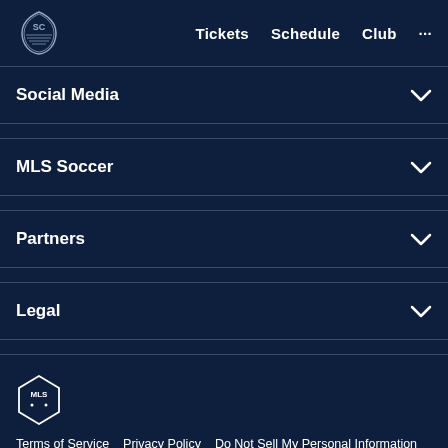Tickets  Schedule  Club  ...
Social Media
MLS Soccer
Partners
Legal
[Figure (logo): MLS shield logo in white outline]
Terms of Service   Privacy Policy   Do Not Sell My Personal Information
©2022 MLS. The Major League Soccer and MLS name and shield are registered trademarks of Major League Soccer, L.L.C. ("MLS"). The names and logos of MLS teams are registered and/or common law trademarks of MLS or are used with the permission of their owners. Any unauthorized use is forbidden.